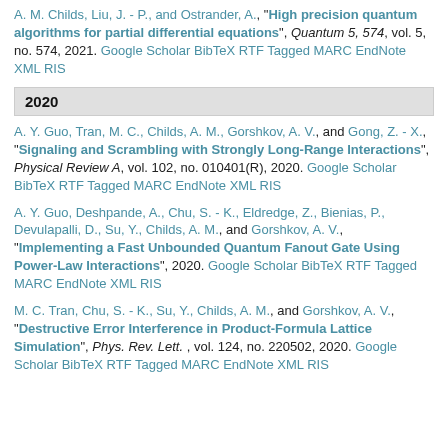A. M. Childs, Liu, J. - P., and Ostrander, A., "High precision quantum algorithms for partial differential equations", Quantum 5, 574, vol. 5, no. 574, 2021. Google Scholar BibTeX RTF Tagged MARC EndNote XML RIS
2020
A. Y. Guo, Tran, M. C., Childs, A. M., Gorshkov, A. V., and Gong, Z. - X., "Signaling and Scrambling with Strongly Long-Range Interactions", Physical Review A, vol. 102, no. 010401(R), 2020. Google Scholar BibTeX RTF Tagged MARC EndNote XML RIS
A. Y. Guo, Deshpande, A., Chu, S. - K., Eldredge, Z., Bienias, P., Devulapalli, D., Su, Y., Childs, A. M., and Gorshkov, A. V., "Implementing a Fast Unbounded Quantum Fanout Gate Using Power-Law Interactions", 2020. Google Scholar BibTeX RTF Tagged MARC EndNote XML RIS
M. C. Tran, Chu, S. - K., Su, Y., Childs, A. M., and Gorshkov, A. V., "Destructive Error Interference in Product-Formula Lattice Simulation", Phys. Rev. Lett., vol. 124, no. 220502, 2020. Google Scholar BibTeX RTF Tagged MARC EndNote XML RIS